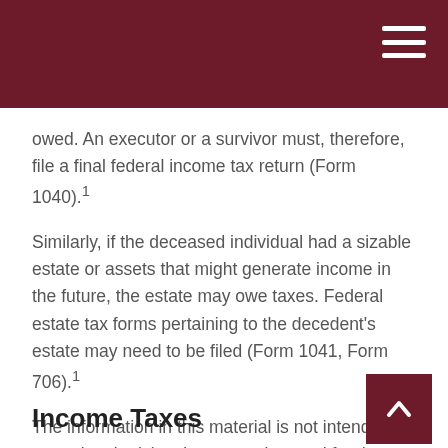owed. An executor or a survivor must, therefore, file a final federal income tax return (Form 1040).¹
Similarly, if the deceased individual had a sizable estate or assets that might generate income in the future, the estate may owe taxes. Federal estate tax forms pertaining to the decedent's estate may need to be filed (Form 1041, Form 706).¹
The information in this material is not intended as tax or legal advice. It may not be used for the purpose of avoiding any federal tax penalties. Please consult a professional with tax expertise if you find yourself in this situation.
Income Taxes